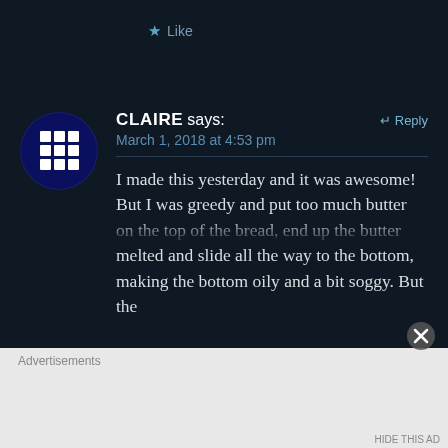★ Like
[Figure (illustration): Blue circular avatar with white grid/hashtag pattern on dark blue background]
CLAIRE says:
↵ Reply
March 1, 2018 at 4:53 pm
I made this yesterday and it was awesome! But I was greedy and put too much butter on the top of the bread, end up the butter melted and slide all the way to the bottom, making the bottom oily and a bit soggy. But the
Advertisements
HIDE THIS AD